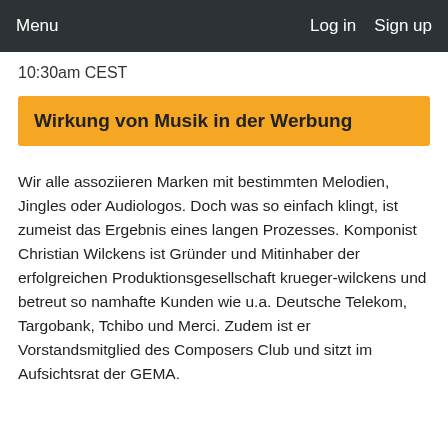Menu   Log in   Sign up
10:30am CEST
Wirkung von Musik in der Werbung
Wir alle assoziieren Marken mit bestimmten Melodien, Jingles oder Audiologos. Doch was so einfach klingt, ist zumeist das Ergebnis eines langen Prozesses. Komponist Christian Wilckens ist Gründer und Mitinhaber der erfolgreichen Produktionsgesellschaft krueger-wilckens und betreut so namhafte Kunden wie u.a. Deutsche Telekom, Targobank, Tchibo und Merci. Zudem ist er Vorstandsmitglied des Composers Club und sitzt im Aufsichtsrat der GEMA.